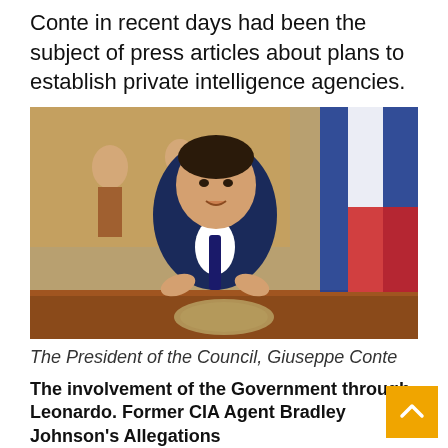Conte in recent days had been the subject of press articles about plans to establish private intelligence agencies.
[Figure (photo): Photo of Giuseppe Conte, President of the Council of Italy, seated at a desk with the Presidenza del Consiglio dei Ministri seal, with an Italian flag and a painting visible in the background.]
The President of the Council, Giuseppe Conte
The involvement of the Government through Leonardo. Former CIA Agent Bradley Johnson's Allegations
According to the words of CIA agent Bradley Johnson, the Conte government could have played